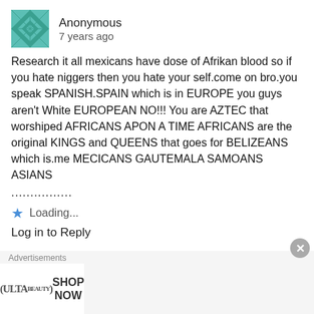[Figure (illustration): Teal geometric quilt-pattern avatar icon]
Anonymous
7 years ago
Research it all mexicans have dose of Afrikan blood so if you hate niggers then you hate your self.come on bro.you speak SPANISH.SPAIN which is in EUROPE you guys aren't White EUROPEAN NO!!! You are AZTEC that worshiped AFRICANS APON A TIME AFRICANS are the original KINGS and QUEENS that goes for BELIZEANS which is.me MECICANS GAUTEMALA SAMOANS ASIANS
................
Loading...
Log in to Reply
[Figure (illustration): Teal geometric quilt-pattern avatar icon (smaller)]
Anonymous
7 years ago
...blurred/truncated text line...
Advertisements